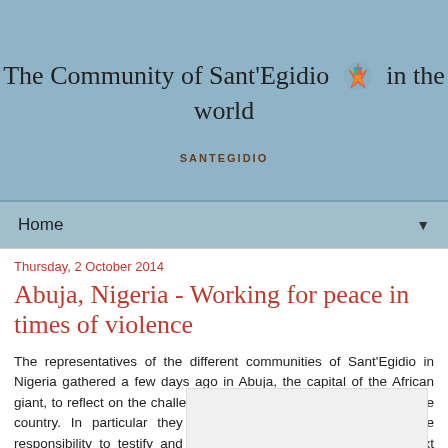The Community of Sant'Egidio in the world SANTEGIDIO
Home
Thursday, 2 October 2014
Abuja, Nigeria - Working for peace in times of violence
The representatives of the different communities of Sant'Egidio in Nigeria gathered a few days ago in Abuja, the capital of the African giant, to reflect on the challenges facing the church association in the country. In particular they addressed the need to take on the responsibility to testify and communicate peace even in a context marked both by pervasive
[Figure (photo): Partial image/photo placeholder at bottom of article]